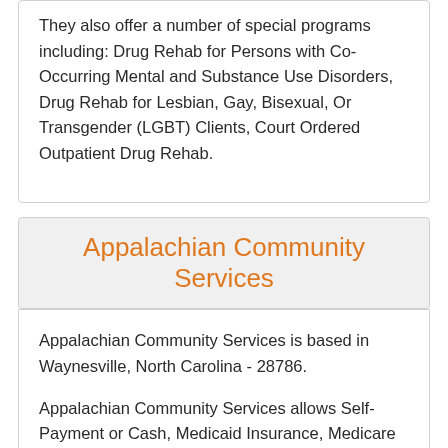They also offer a number of special programs including: Drug Rehab for Persons with Co-Occurring Mental and Substance Use Disorders, Drug Rehab for Lesbian, Gay, Bisexual, Or Transgender (LGBT) Clients, Court Ordered Outpatient Drug Rehab.
Appalachian Community Services
Appalachian Community Services is based in Waynesville, North Carolina - 28786.
Appalachian Community Services allows Self-Payment or Cash, Medicaid Insurance, Medicare Covered Treatment for these